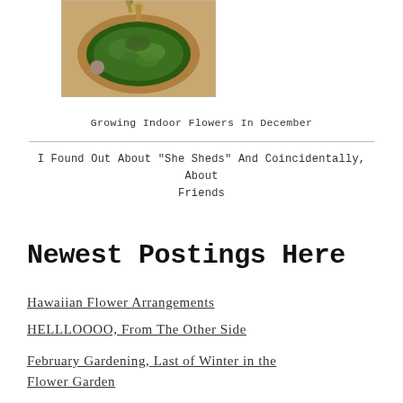[Figure (photo): A bowl filled with green moss or plant material on a decorative plate, with small items nearby on a white tablecloth with green pattern]
Growing Indoor Flowers In December
I Found Out About "She Sheds" And Coincidentally, About Friends
Newest Postings Here
Hawaiian Flower Arrangements
HELLLOOOO, From The Other Side
February Gardening, Last of Winter in the Flower Garden